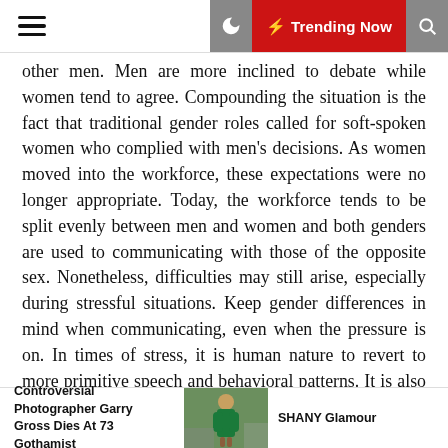Trending Now
other men. Men are more inclined to debate while women tend to agree. Compounding the situation is the fact that traditional gender roles called for soft-spoken women who complied with men's decisions. As women moved into the workforce, these expectations were no longer appropriate. Today, the workforce tends to be split evenly between men and women and both genders are used to communicating with those of the opposite sex. Nonetheless, difficulties may still arise, especially during stressful situations. Keep gender differences in mind when communicating, even when the pressure is on. In times of stress, it is human nature to revert to more primitive speech and behavioral patterns. It is also common to become less aware of others' motivations and feelings. Therefore, successful communication at these times requires effort and dedication. When your skin becomes older, liver spots can develop, plus lengthy
Controversial Photographer Garry Gross Dies At 73 Gothamist | SHANY Glamour